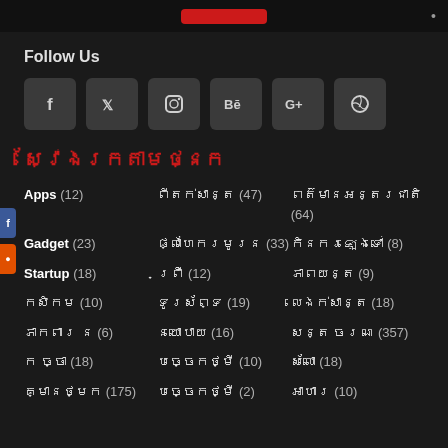Follow Us
[Figure (other): Social media icon buttons: Facebook, Twitter, Instagram, Behance, Google+, Dribbble]
ស្វែងរកតាមថ្នក
Apps (12)
ពីតក់សាន់ (47)
ពតិមានអន្តរជាតិ (64)
Gadget (23)
ផ្លេហែររមូរន (33)
កិនករឡេងំ (8)
Startup (18)
ព្រឺ (12)
ភាពយន្ត (9)
កសិកម (10)
ទូរស័ព្ទ (19)
លេងក់សាន ​(18)
ភាកពារ ន (6)
នយោបាយ (16)
សន្ត ចរណ (357)
ក ច្ចា (18)
បច្ចេកថ្មី (10)
ស័លោ ​​ ​ ​ (18)
គ្មានថ្មក (175)
បច្ចេកថ្មី (2)
អាហារ (10)